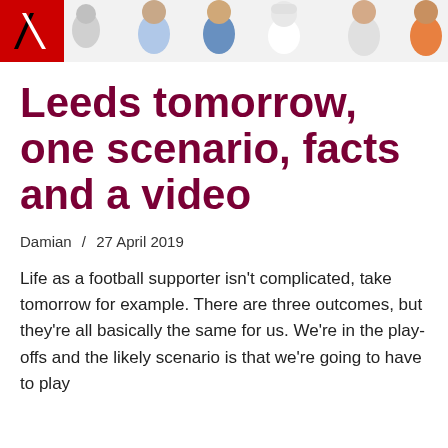[Figure (photo): Website header banner showing a logo with 'V' on red/black background on the left, and multiple player headshots/portraits on a light grey background to the right]
Leeds tomorrow, one scenario, facts and a video
Damian / 27 April 2019
Life as a football supporter isn't complicated, take tomorrow for example. There are three outcomes, but they're all basically the same for us. We're in the play-offs and the likely scenario is that we're going to have to play